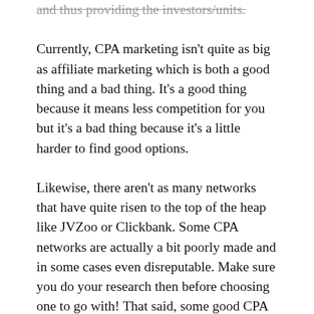and thus providing the investors/units.
Currently, CPA marketing isn't quite as big as affiliate marketing which is both a good thing and a bad thing. It's a good thing because it means less competition for you but it's a bad thing because it's a little harder to find good options.
Likewise, there aren't as many networks that have quite risen to the top of the heap like JVZoo or Clickbank. Some CPA networks are actually a bit poorly made and in some cases even disreputable. Make sure you do your research then before choosing one to go with! That said, some good CPA networks to choose from include Max Bounty